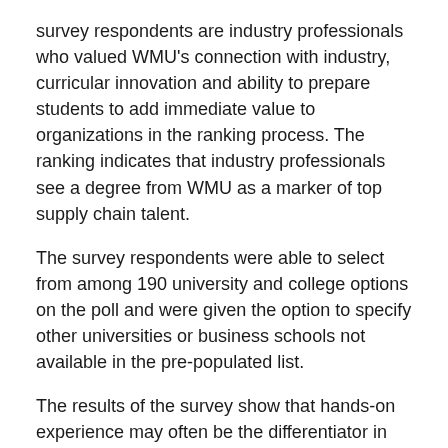survey respondents are industry professionals who valued WMU's connection with industry, curricular innovation and ability to prepare students to add immediate value to organizations in the ranking process. The ranking indicates that industry professionals see a degree from WMU as a marker of top supply chain talent.
The survey respondents were able to select from among 190 university and college options on the poll and were given the option to specify other universities or business schools not available in the pre-populated list.
The results of the survey show that hands-on experience may often be the differentiator in program success. SCM World cites a recent survey about the ideal skill mix that supply chain professionals identified as needed for 2020 and beyond, which stated that communication, strategic thinking and change management were among desired skills. According to SCM World, "Skills like these develop fastest in the world of work, which may explain some of